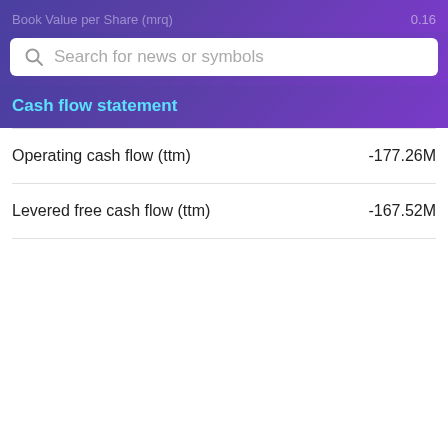Book Value per Share (mrq)
Cash flow statement
|  |  |
| --- | --- |
| Operating cash flow (ttm) | -177.26M |
| Levered free cash flow (ttm) | -167.52M |